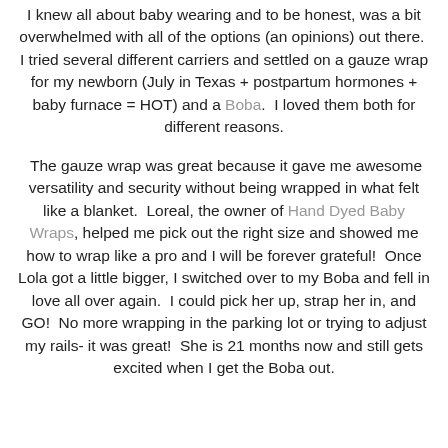I knew all about baby wearing and to be honest, was a bit overwhelmed with all of the options (an opinions) out there. I tried several different carriers and settled on a gauze wrap for my newborn (July in Texas + postpartum hormones + baby furnace = HOT) and a Boba. I loved them both for different reasons.
The gauze wrap was great because it gave me awesome versatility and security without being wrapped in what felt like a blanket. Loreal, the owner of Hand Dyed Baby Wraps, helped me pick out the right size and showed me how to wrap like a pro and I will be forever grateful! Once Lola got a little bigger, I switched over to my Boba and fell in love all over again. I could pick her up, strap her in, and GO! No more wrapping in the parking lot or trying to adjust my rails- it was great! She is 21 months now and still gets excited when I get the Boba out.